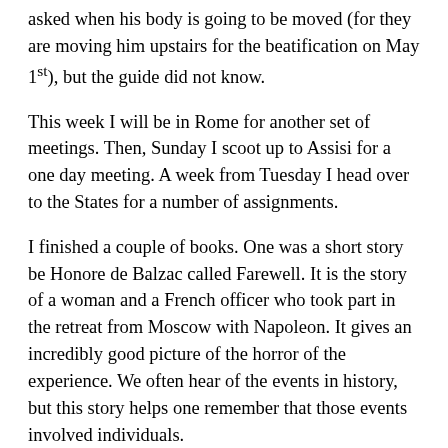asked when his body is going to be moved (for they are moving him upstairs for the beatification on May 1st), but the guide did not know.
This week I will be in Rome for another set of meetings. Then, Sunday I scoot up to Assisi for a one day meeting. A week from Tuesday I head over to the States for a number of assignments.
I finished a couple of books. One was a short story be Honore de Balzac called Farewell. It is the story of a woman and a French officer who took part in the retreat from Moscow with Napoleon. It gives an incredibly good picture of the horror of the experience. We often hear of the events in history, but this story helps one remember that those events involved individuals.
A second book was the story of Hannibal by Jacob Abbott. I have read a few of Abbott's biographies. He has done a whole series of them on historic figures. This was not his best. It is interesting to see how he tries to defend British colonial policy in his depiction of Hannibal. He wrote this at